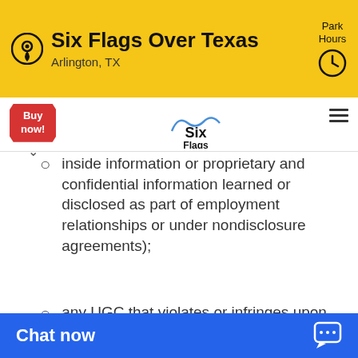Six Flags Over Texas
Arlington, TX
[Figure (screenshot): Six Flags Over Texas website navigation bar with logo and Buy now button]
inside information or proprietary and confidential information learned or disclosed as part of employment relationships or under nondisclosure agreements);
any UGC that violates or infringes upon the rights of others, including UGC which violates the patent rights, copyrights, trademark rights, privacy rights, publicity rights, trade secret rights, confidentiality rights, contract rights, or any ot... li...